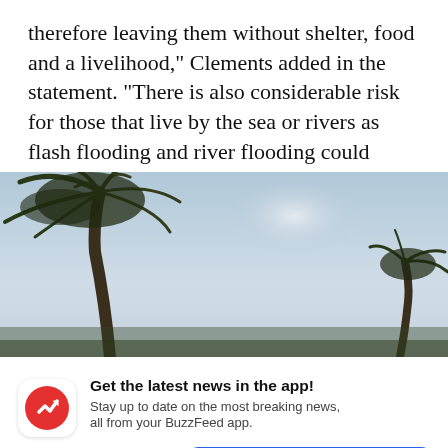therefore leaving them without shelter, food and a livelihood," Clements added in the statement. "There is also considerable risk for those that live by the sea or rivers as flash flooding and river flooding could occur due to heavy rains."
[Figure (photo): Photograph of palm trees bending in strong wind against a pale grey-blue sky, suggesting a tropical storm or hurricane.]
Get the latest news in the app! Stay up to date on the most breaking news, all from your BuzzFeed app.
Maybe later
Get the app